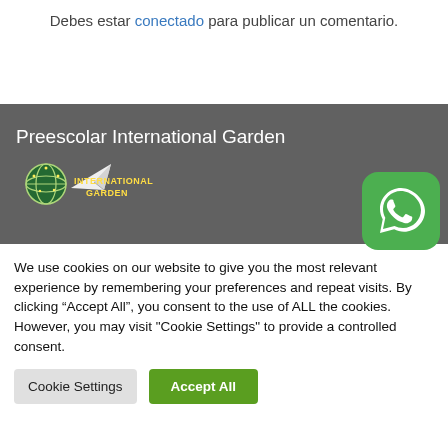Debes estar conectado para publicar un comentario.
[Figure (logo): WhatsApp green rounded square button with white phone handset icon]
Preescolar International Garden
[Figure (logo): Preescolar International Garden logo with globe and paper airplane]
We use cookies on our website to give you the most relevant experience by remembering your preferences and repeat visits. By clicking “Accept All”, you consent to the use of ALL the cookies. However, you may visit "Cookie Settings" to provide a controlled consent.
Cookie Settings | Accept All